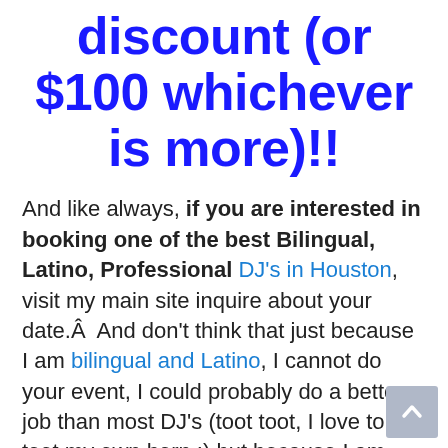discount (or $100 whichever is more)!!
And like always, if you are interested in booking one of the best Bilingual, Latino, Professional DJ's in Houston, visit my main site inquire about your date.Â  And don't think that just because I am bilingual and Latino, I cannot do your event, I could probably do a better job than most DJ's (toot toot, I love to toot my own horn :) but because I am confident, not arrogant ). I love all kinds of music from the oldies, the retro, the big band, to the hip hop (Radio Edited), oldies Rock, etc... I've got it all. But the fact that I am a bilingual Latino DJ means that even those few guests that speak